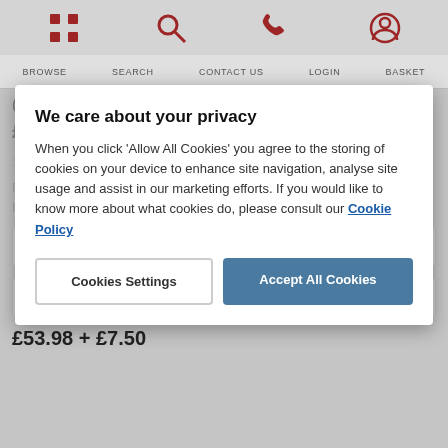BROWSE   SEARCH   CONTACT US   LOGIN   BASKET
(ROUND) - 5M
£53.98 inc VAT
We care about your privacy
When you click 'Allow All Cookies' you agree to the storing of cookies on your device to enhance site navigation, analyse site usage and assist in our marketing efforts. If you would like to know more about what cookies do, please consult our Cookie Policy
Specifications
Cookies Settings
Accept All Cookies
Please Note – This product is out of stock but still available for order. Items are usually re-stocked within seven days.
Standard Delivery (2 - 3 Days)
Next Day Delivery
£53.98 + £7.50